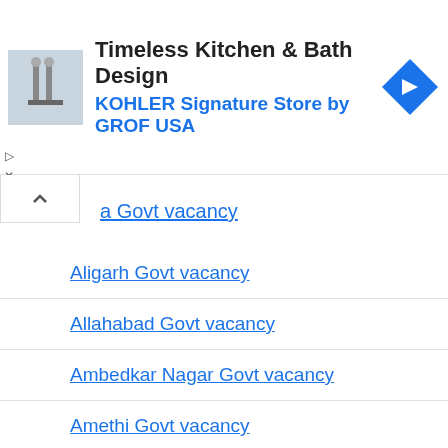[Figure (infographic): Advertisement banner for Timeless Kitchen & Bath Design - KOHLER Signature Store by GROF USA, with a bathroom photo thumbnail and navigation icon]
a Govt vacancy
Aligarh Govt vacancy
Allahabad Govt vacancy
Ambedkar Nagar Govt vacancy
Amethi Govt vacancy
Amroha Govt Vacancy
Auraiya Govt Vacancy
Azamgarh Govt vacancy